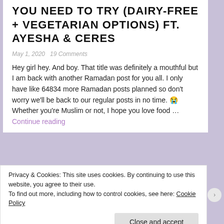YOU NEED TO TRY (DAIRY-FREE + VEGETARIAN OPTIONS) FT. AYESHA & CERES
May 1, 2020   19 Comments
Hey girl hey. And boy. That title was definitely a mouthful but I am back with another Ramadan post for you all. I only have like 64834 more Ramadan posts planned so don't worry we'll be back to our regular posts in no time. 😭 Whether you're Muslim or not, I hope you love food … Continue reading
Privacy & Cookies: This site uses cookies. By continuing to use this website, you agree to their use.
To find out more, including how to control cookies, see here: Cookie Policy